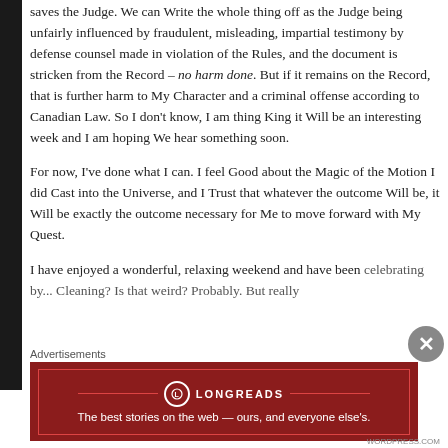saves the Judge. We can Write the whole thing off as the Judge being unfairly influenced by fraudulent, misleading, impartial testimony by defense counsel made in violation of the Rules, and the document is stricken from the Record – no harm done. But if it remains on the Record, that is further harm to My Character and a criminal offense according to Canadian Law. So I don't know, I am thing King it Will be an interesting week and I am hoping We hear something soon.

For now, I've done what I can. I feel Good about the Magic of the Motion I did Cast into the Universe, and I Trust that whatever the outcome Will be, it Will be exactly the outcome necessary for Me to move forward with My Quest.

I have enjoyed a wonderful, relaxing weekend and have been celebrating by... Cleaning? Is that weird? Probably. But really
[Figure (other): Longreads advertisement banner: red background with Longreads logo (circle with L icon) and tagline 'The best stories on the web — ours, and everyone else's.']
WORDPRESS.COM